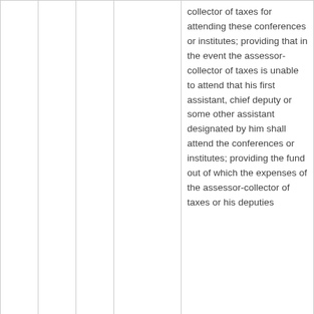|  |  |  |  | collector of taxes for attending these conferences or institutes; providing that in the event the assessor-collector of taxes is unable to attend that his first assistant, chief deputy or some other assistant designated by him shall attend the conferences or institutes; providing the fund out of which the expenses of the assessor-collector of taxes or his deputies |